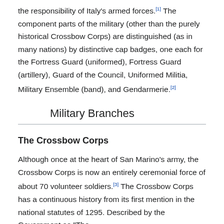the responsibility of Italy's armed forces.[1] The component parts of the military (other than the purely historical Crossbow Corps) are distinguished (as in many nations) by distinctive cap badges, one each for the Fortress Guard (uniformed), Fortress Guard (artillery), Guard of the Council, Uniformed Militia, Military Ensemble (band), and Gendarmerie.[2]
Military Branches
The Crossbow Corps
Although once at the heart of San Marino's army, the Crossbow Corps is now an entirely ceremonial force of about 70 volunteer soldiers.[3] The Crossbow Corps has a continuous history from its first mention in the national statutes of 1295. Described by the Government as "The